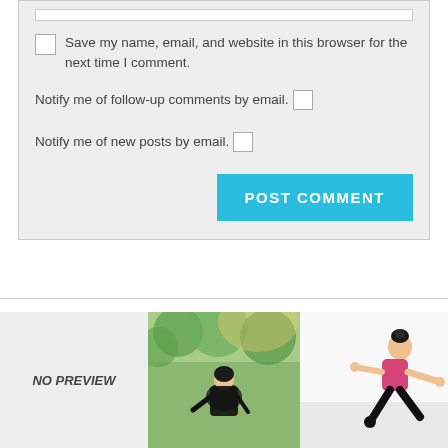Save my name, email, and website in this browser for the next time I comment.
Notify me of follow-up comments by email.
Notify me of new posts by email.
POST COMMENT
[Figure (photo): NO PREVIEW placeholder box]
[Figure (photo): Woman in black outfit sitting outdoors with green trees background]
[Figure (photo): Woman in pink and black outfit doing yoga stretch pose]